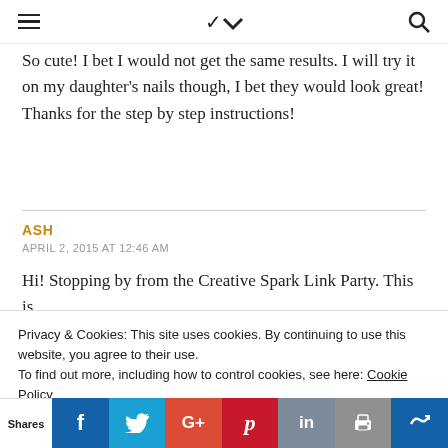≡ ∨ 🔍
So cute! I bet I would not get the same results. I will try it on my daughter's nails though, I bet they would look great! Thanks for the step by step instructions!
ASH
APRIL 2, 2015 AT 12:46 AM
Hi! Stopping by from the Creative Spark Link Party. This is
Privacy & Cookies: This site uses cookies. By continuing to use this website, you agree to their use.
To find out more, including how to control cookies, see here: Cookie Policy
Shares